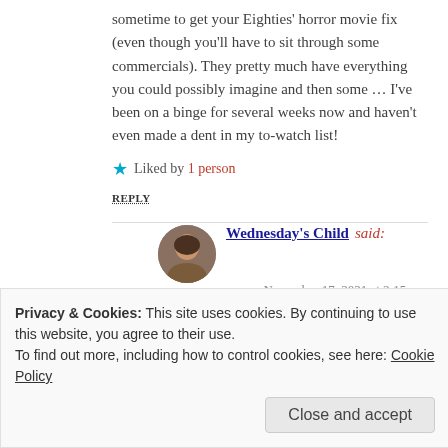sometime to get your Eighties' horror movie fix (even though you'll have to sit through some commercials). They pretty much have everything you could possibly imagine and then some … I've been on a binge for several weeks now and haven't even made a dent in my to-watch list!
Liked by 1 person
REPLY
Wednesday's Child said:
November 17, 2021 at 3:15 pm
What is the best one you've seen lately?
And how do you search on there? I got
Privacy & Cookies: This site uses cookies. By continuing to use this website, you agree to their use.
To find out more, including how to control cookies, see here: Cookie Policy
Close and accept